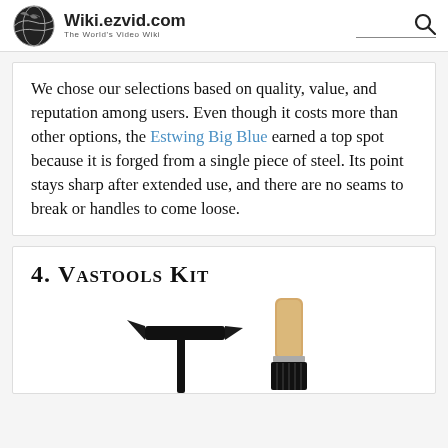Wiki.ezvid.com — The World's Video Wiki
We chose our selections based on quality, value, and reputation among users. Even though it costs more than other options, the Estwing Big Blue earned a top spot because it is forged from a single piece of steel. Its point stays sharp after extended use, and there are no seams to break or handles to come loose.
4. Vastools Kit
[Figure (photo): Two tools: a black rock pick/hammer and a wooden-handled brush, partially visible at bottom of page.]